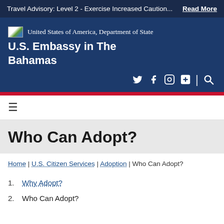Travel Advisory: Level 2 - Exercise Increased Caution... Read More
United States of America, Department of State
U.S. Embassy in The Bahamas
Who Can Adopt?
Home | U.S. Citizen Services | Adoption | Who Can Adopt?
1. Why Adopt?
2. Who Can Adopt?